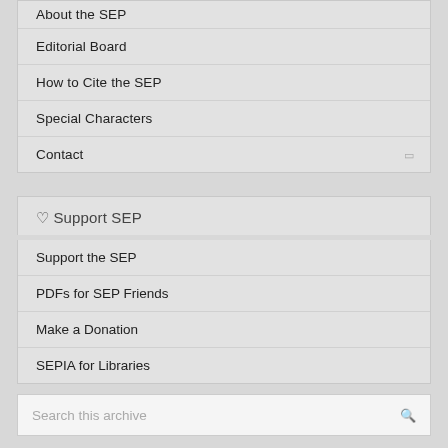About the SEP
Editorial Board
How to Cite the SEP
Special Characters
Contact
♡ Support SEP
Support the SEP
PDFs for SEP Friends
Make a Donation
SEPIA for Libraries
Search this archive